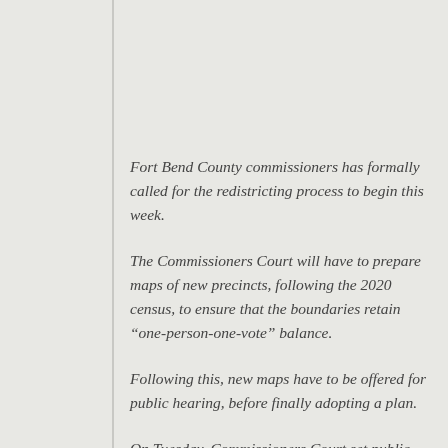Fort Bend County commissioners has formally called for the redistricting process to begin this week.
The Commissioners Court will have to prepare maps of new precincts, following the 2020 census, to ensure that the boundaries retain “one-person-one-vote” balance.
Following this, new maps have to be offered for public hearing, before finally adopting a plan.
On Tuesday, Commissioners Court set public hearing on redistricting to be held on Oct. 26, at 1 p.m. and at 6 p.m. in the Commissioners